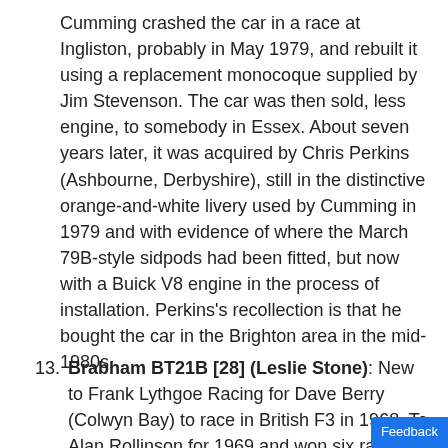Cumming crashed the car in a race at Ingliston, probably in May 1979, and rebuilt it using a replacement monocoque supplied by Jim Stevenson. The car was then sold, less engine, to somebody in Essex. About seven years later, it was acquired by Chris Perkins (Ashbourne, Derbyshire), still in the distinctive orange-and-white livery used by Cumming in 1979 and with evidence of where the March 79B-style sidpods had been fitted, but now with a Buick V8 engine in the process of installation. Perkins's recollection is that he bought the car in the Brighton area in the mid-1980s.
13. Brabham BT21B [28] (Leslie Stone): New to Frank Lythgoe Racing for Dave Berry (Colwyn Bay) to race in British F3 in 1968. To Alan Rollinson for 1969 and won six races at the start…